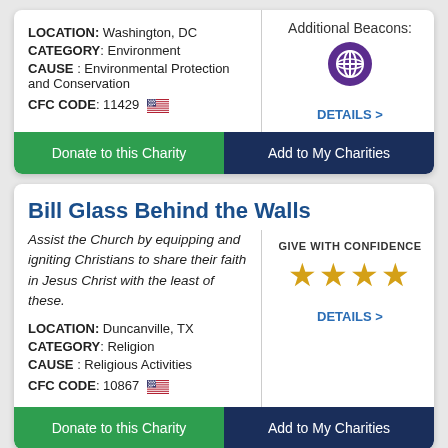LOCATION: Washington, DC
CATEGORY: Environment
CAUSE: Environmental Protection and Conservation
CFC CODE: 11429
Additional Beacons:
DETAILS >
Donate to this Charity
Add to My Charities
Bill Glass Behind the Walls
Assist the Church by equipping and igniting Christians to share their faith in Jesus Christ with the least of these.
GIVE WITH CONFIDENCE
★★★★
DETAILS >
LOCATION: Duncanville, TX
CATEGORY: Religion
CAUSE: Religious Activities
CFC CODE: 10867
Donate to this Charity
Add to My Charities